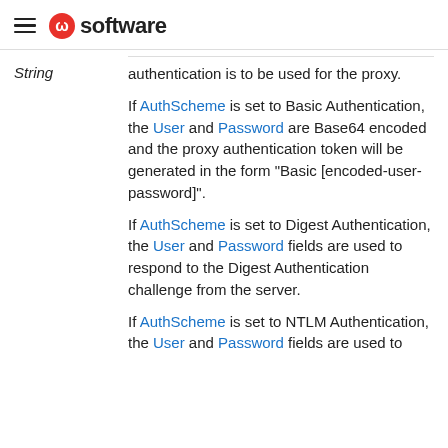software
String
authentication is to be used for the proxy.
If AuthScheme is set to Basic Authentication, the User and Password are Base64 encoded and the proxy authentication token will be generated in the form "Basic [encoded-user-password]".
If AuthScheme is set to Digest Authentication, the User and Password fields are used to respond to the Digest Authentication challenge from the server.
If AuthScheme is set to NTLM Authentication, the User and Password fields are used to